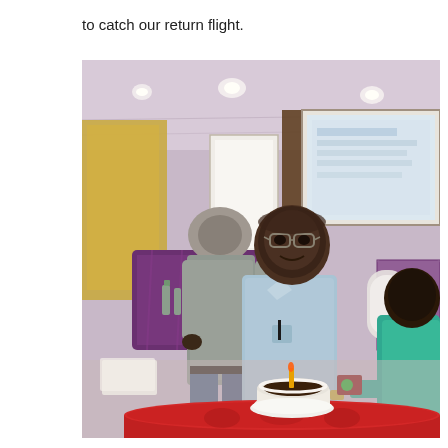to catch our return flight.
[Figure (photo): Indoor conference/banquet room scene. A man in a light blue shirt and glasses stands smiling in the center, facing the camera. Behind him to the left, another man in a grey shirt stands with his back to the camera near purple-draped tables. To the right, a person in a teal/turquoise top is partially visible. In the background there is a projection screen and a flipchart. In the foreground is a round table with a red tablecloth and a small birthday/celebration cake with a candle on it.]